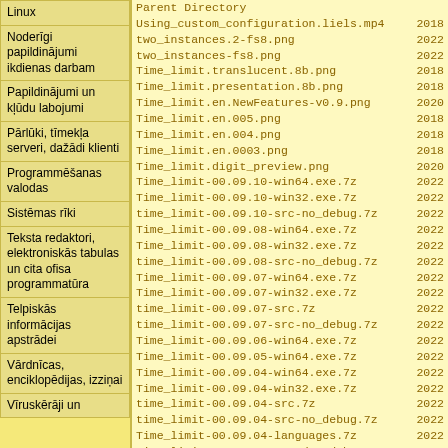Linux
Noderīgi papildinājumi ikdienas darbam
Papildinājumi un kļūdu labojumi
Pārlūki, tīmekļa serveri, dažādi klienti
Programmēšanas valodas
Sistēmas rīki
Teksta redaktori, elektroniskās tabulas un cita ofisa programmatūra
Telpiskās informācijas apstrādei
Vārdnīcas, enciklopēdijas, izziņai
Vīruskērāji un
Parent Directory
Using_custom_configuration.liels.mp4 2018
two_instances.2-fs8.png 2022
two_instances-fs8.png 2022
Time_limit.translucent.8b.png 2018
Time_limit.presentation.8b.png 2018
Time_limit.en.NewFeatures-v0.9.png 2020
Time_limit.en.005.png 2018
Time_limit.en.004.png 2018
Time_limit.en.0003.png 2018
Time_limit.digit_preview.png 2020
Time_limit-00.09.10-win64.exe.7z 2022
Time_limit-00.09.10-win32.exe.7z 2022
time_limit-00.09.10-src-no_debug.7z 2022
Time_limit-00.09.08-win64.exe.7z 2022
Time_limit-00.09.08-win32.exe.7z 2022
time_limit-00.09.08-src-no_debug.7z 2022
Time_limit-00.09.07-win64.exe.7z 2022
Time_limit-00.09.07-win32.exe.7z 2022
time_limit-00.09.07-src.7z 2022
time_limit-00.09.07-src-no_debug.7z 2022
Time_limit-00.09.06-win64.exe.7z 2022
Time_limit-00.09.05-win64.exe.7z 2022
Time_limit-00.09.04-win64.exe.7z 2022
Time_limit-00.09.04-win32.exe.7z 2022
time_limit-00.09.04-src.7z 2022
time_limit-00.09.04-src-no_debug.7z 2022
Time_limit-00.09.04-languages.7z 2022
time-limit_00.09.08-1_amd64.deb 2022
PP_Presenter_View.8b.png 2018